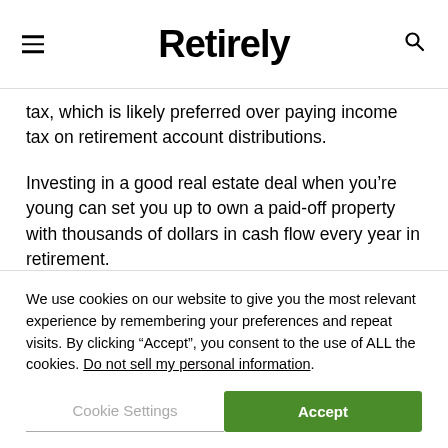Retirely
tax, which is likely preferred over paying income tax on retirement account distributions.
Investing in a good real estate deal when you’re young can set you up to own a paid-off property with thousands of dollars in cash flow every year in retirement.
You won’t have access to or interest in using all of the
We use cookies on our website to give you the most relevant experience by remembering your preferences and repeat visits. By clicking “Accept”, you consent to the use of ALL the cookies. Do not sell my personal information.